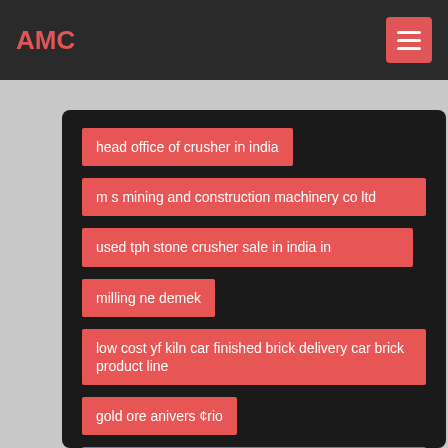AMC
head office of crusher in india
m s mining and construction machinery co ltd
used tph stone crusher sale in india in
milling ne demek
low cost yf kiln car finished brick delivery car brick product line
gold ore anivers ¢rio
five factors that hampered mining